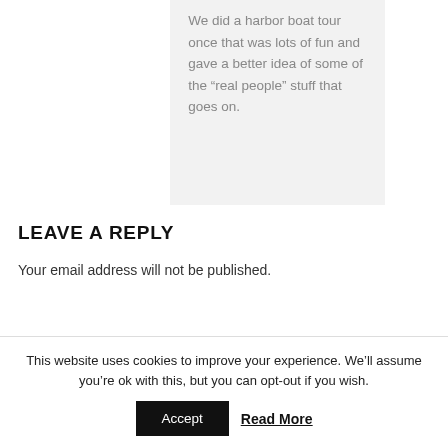We did a harbor boat tour once that was lots of fun and gave a better idea of some of the “real people” stuff that goes on.
LEAVE A REPLY
Your email address will not be published.
This website uses cookies to improve your experience. We’ll assume you’re ok with this, but you can opt-out if you wish.